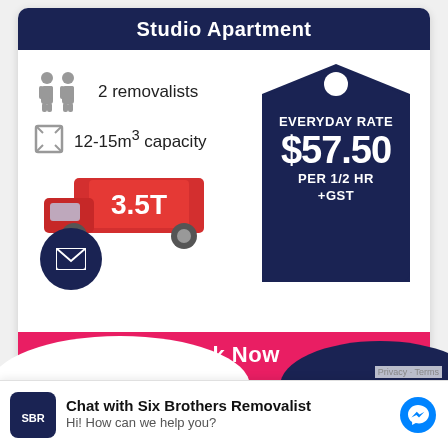Studio Apartment
2 removalists
12-15m³ capacity
[Figure (infographic): Red truck illustration with '3.5T' label indicating truck size/capacity]
[Figure (infographic): Dark navy price tag shape showing: EVERYDAY RATE $57.50 PER 1/2 HR +GST]
EVERYDAY RATE $57.50 PER 1/2 HR +GST
Book Now
Chat with Six Brothers Removalist
Hi! How can we help you?